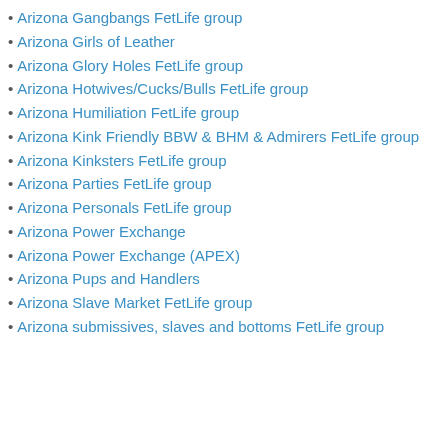Arizona Gangbangs FetLife group
Arizona Girls of Leather
Arizona Glory Holes FetLife group
Arizona Hotwives/Cucks/Bulls FetLife group
Arizona Humiliation FetLife group
Arizona Kink Friendly BBW & BHM & Admirers FetLife group
Arizona Kinksters FetLife group
Arizona Parties FetLife group
Arizona Personals FetLife group
Arizona Power Exchange
Arizona Power Exchange (APEX)
Arizona Pups and Handlers
Arizona Slave Market FetLife group
Arizona submissives, slaves and bottoms FetLife group